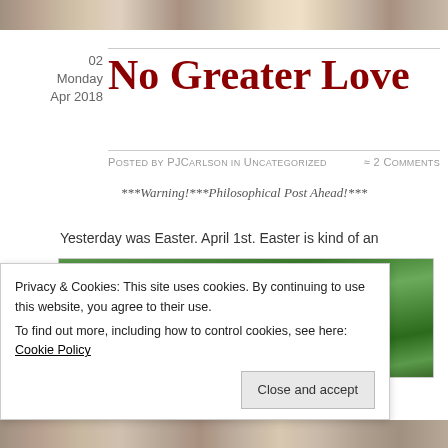[Figure (photo): Top banner photo strip showing group photo]
02
Monday
Apr 2018
No Greater Love
Posted by PJCarlson in Uncategorized ≈ 2 Comments
***Warning!***Philosophical Post Ahead!***
Yesterday was Easter. April 1st. Easter is kind of an
[Figure (photo): Family photo showing four people standing outdoors with green foliage background]
Privacy & Cookies: This site uses cookies. By continuing to use this website, you agree to their use.
To find out more, including how to control cookies, see here: Cookie Policy
Close and accept
[Figure (photo): Bottom strip photo]